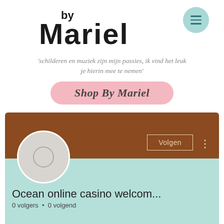[Figure (logo): Handwritten-style logo reading 'by Mariel' with a teal circular hamburger menu button to the right]
'schilderen en muziek zijn mijn passies, ik vind het leuk je hierin mee te nemen'
Shop By Mariel
[Figure (screenshot): Social media profile card with brown banner, circular avatar placeholder, Volgen (Follow) button, title 'Ocean online casino welcom...' and '0 volgers • 0 volgend']
Ocean online casino welcom...
0 volgers • 0 volgend